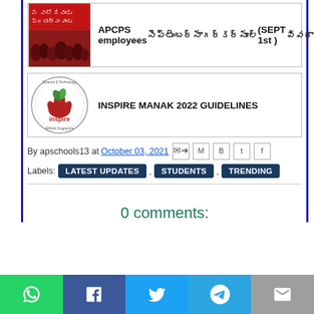[Figure (photo): Crowd photo with Telugu text overlay on red banner]
APCPS employees [Telugu] [Telugu] (SEPT 1st ) [Telugu]
[Figure (logo): Inspire MANAK logo - circular logo with hand and plant]
INSPIRE MANAK 2022 GUIDELINES
By apschools13 at October 03, 2021
Labels: LATEST UPDATES , STUDENTS , TRENDING
0 comments:
[Figure (infographic): Social share bar with WhatsApp, Facebook, Twitter, Telegram, Email buttons]